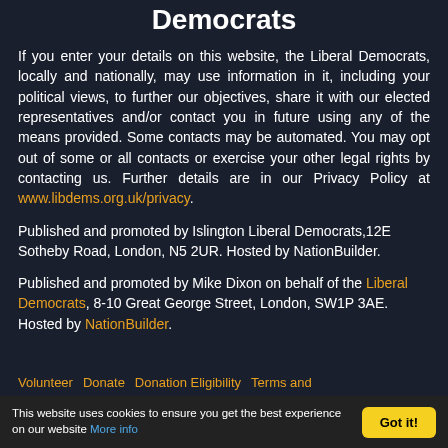Democrats
If you enter your details on this website, the Liberal Democrats, locally and nationally, may use information in it, including your political views, to further our objectives, share it with our elected representatives and/or contact you in future using any of the means provided. Some contacts may be automated. You may opt out of some or all contacts or exercise your other legal rights by contacting us. Further details are in our Privacy Policy at www.libdems.org.uk/privacy.
Published and promoted by Islington Liberal Democrats,12E Sotheby Road, London, N5 2UR. Hosted by NationBuilder.
Published and promoted by Mike Dixon on behalf of the Liberal Democrats, 8-10 Great George Street, London, SW1P 3AE. Hosted by NationBuilder.
Volunteer   Donate   Donation Eligibility   Terms and
This website uses cookies to ensure you get the best experience on our website More info